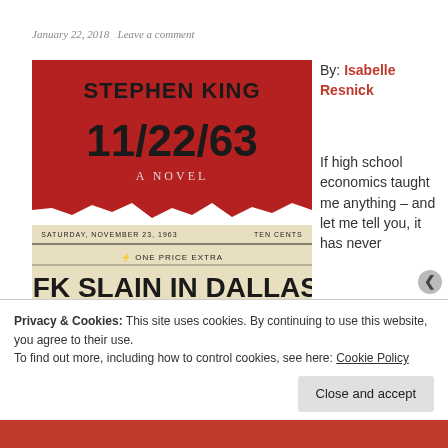January 22, 2018   Leave a comment
[Figure (photo): Book cover of '11/22/63' by Stephen King — a novel with red background showing large black text 'STEPHEN KING 11/22/63 A NOVEL' and a newspaper front page showing 'JFK SLAIN IN DALLAS, LBJ TAKES OATH' with headline 'First Lady Emerges Unharmed; Shooter Charged as Killer']
By: Isabelle Resnick
If high school economics taught me anything – and let me tell you, it has never